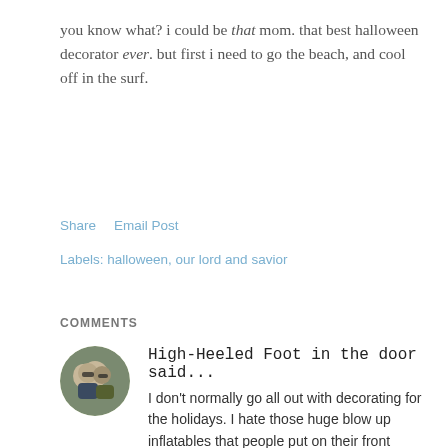you know what? i could be that mom. that best halloween decorator ever. but first i need to go the beach, and cool off in the surf.
Share   Email Post
Labels: halloween, our lord and savior
COMMENTS
High-Heeled Foot in the door said...
I don't normally go all out with decorating for the holidays. I hate those huge blow up inflatables that people put on their front yards. But I love your idea of using black toile for Halloween. I believe I even a toile table runner somewhere in my house that I must unearth. I also love your idea of white pumpkins. I'm on a big white kick lately. I'm dying to paint my wood floors white. my brick fireplace white. Bascially